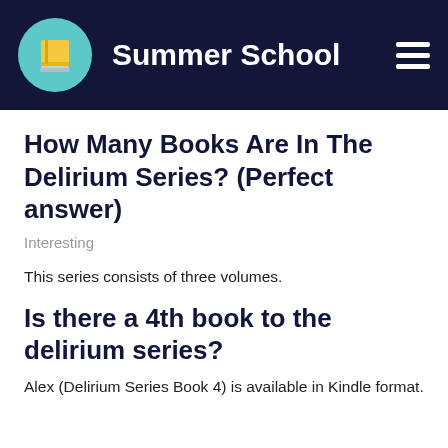Summer School
How Many Books Are In The Delirium Series? (Perfect answer)
Interesting
This series consists of three volumes.
Is there a 4th book to the delirium series?
Alex (Delirium Series Book 4) is available in Kindle format.